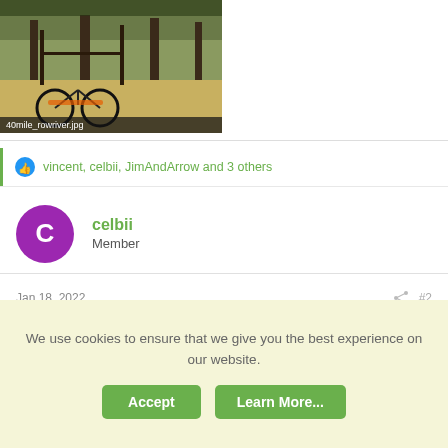[Figure (photo): A bicycle near outdoor posts/fence, with trees and dry ground visible. File caption shows '40mile_rowriver.jpg'.]
vincent, celbii, JimAndArrow and 3 others
celbii
Member
Jan 18, 2022   #2
Nice review. Thanks.
We use cookies to ensure that we give you the best experience on our website.
Accept   Learn More...